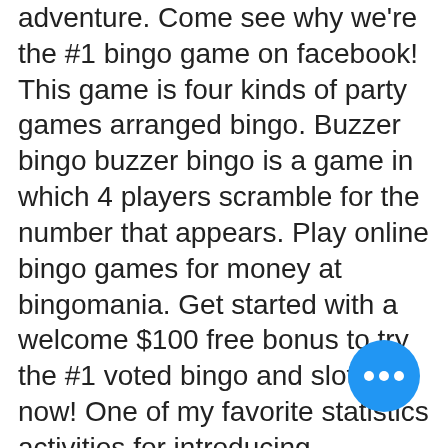adventure. Come see why we're the #1 bingo game on facebook! This game is four kinds of party games arranged bingo. Buzzer bingo buzzer bingo is a game in which 4 players scramble for the number that appears. Play online bingo games for money at bingomania. Get started with a welcome $100 free bonus to try the #1 voted bingo and slots site now! One of my favorite statistics activities for introducing probability is probability bingo. Probability bingo is not your typical bingo game. Experience your online bingo game as you never have before, while going on a bingo games adventure, in bingo blitz. Join blizty the cat for awesome online. How much does bingo cost? regular game prices vary depending on the session. Is there a winner on every game? May 5, 2022 - explore paula alexander's board &quot;printable bingo cards&quot;, followed by 363 people on pinterest. See more ideas about bingo cards,